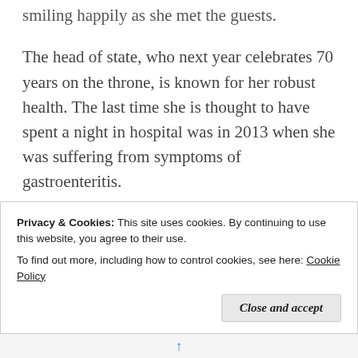smiling happily as she met the guests.
The head of state, who next year celebrates 70 years on the throne, is known for her robust health. The last time she is thought to have spent a night in hospital was in 2013 when she was suffering from symptoms of gastroenteritis.
She had a successful surgery to treat an eye cataract in 2018, and also had a knee operation in 2003. However, royal officials are loathe to discuss health issue in general, saying medical matters are
Privacy & Cookies: This site uses cookies. By continuing to use this website, you agree to their use.
To find out more, including how to control cookies, see here: Cookie Policy
Close and accept